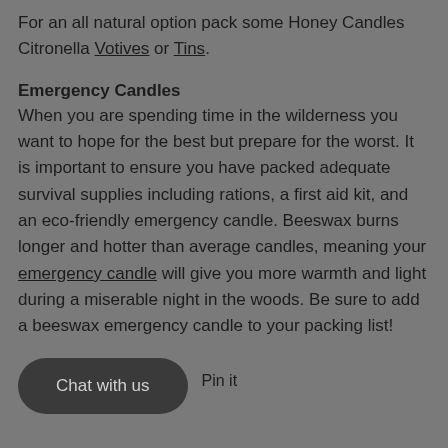For an all natural option pack some Honey Candles Citronella Votives or Tins.
Emergency Candles
When you are spending time in the wilderness you want to hope for the best but prepare for the worst. It is important to ensure you have packed adequate survival supplies including rations, a first aid kit, and an eco-friendly emergency candle. Beeswax burns longer and hotter than average candles, meaning your emergency candle will give you more warmth and light during a miserable night in the woods. Be sure to add a beeswax emergency candle to your packing list!
Pin it
Chat with us